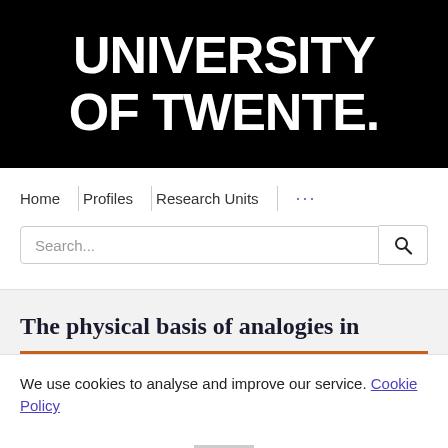[Figure (logo): University of Twente logo: white bold text 'UNIVERSITY OF TWENTE.' on black background]
Home | Profiles | Research Units | ...
Search...
The physical basis of analogies in
We use cookies to analyse and improve our service. Cookie Policy